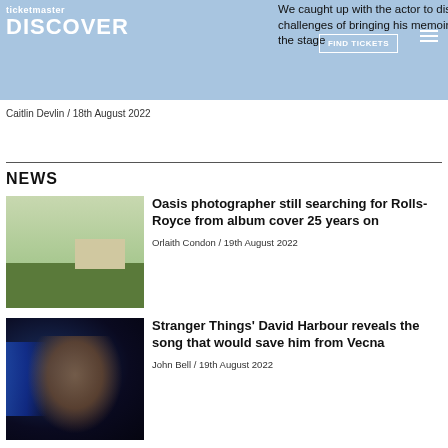ticketmaster DISCOVER — We caught up with the actor to discuss the joys and challenges of bringing his memoir, Walking With Ghosts, to the stage. FIND TICKETS
Caitlin Devlin / 18th August 2022
NEWS
Oasis photographer still searching for Rolls-Royce from album cover 25 years on
Orlaith Condon / 19th August 2022
[Figure (photo): Outdoor scene with grass, trees, buildings and people, related to Oasis album cover photo shoot]
Stranger Things' David Harbour reveals the song that would save him from Vecna
John Bell / 19th August 2022
[Figure (photo): David Harbour photographed against a dark blue background, wearing a dark suit]